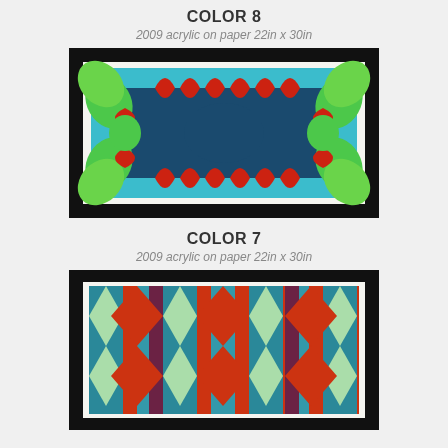COLOR 8
2009 acrylic on paper 22in x 30in
[Figure (illustration): Geometric op-art painting with red flame/petal shapes arranged in a rectangular frame on a teal/cyan background, with green leaf shapes at the corners and edges, and dark navy blue center with symmetrical red and green motifs.]
COLOR 7
2009 acrylic on paper 22in x 30in
[Figure (illustration): Geometric op-art painting with vertical stripes and diamond/hourglass shapes in teal, red, green, and dark purple colors, creating a repeating vertical pattern.]